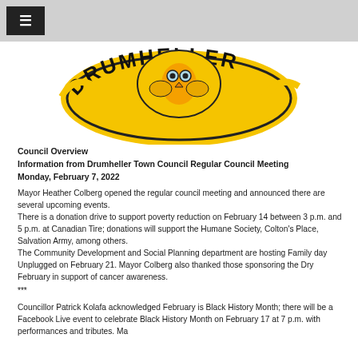[Figure (logo): Drumheller town crest/badge logo — circular yellow badge with black text 'DRUMHELLER' and an owl/bird emblem in the center]
Council Overview
Information from Drumheller Town Council Regular Council Meeting
Monday, February 7, 2022
Mayor Heather Colberg opened the regular council meeting and announced there are several upcoming events.
There is a donation drive to support poverty reduction on February 14 between 3 p.m. and 5 p.m. at Canadian Tire; donations will support the Humane Society, Colton's Place, Salvation Army, among others.
The Community Development and Social Planning department are hosting Family day Unplugged on February 21. Mayor Colberg also thanked those sponsoring the Dry February in support of cancer awareness.
***
Councillor Patrick Kolafa acknowledged February is Black History Month; there will be a Facebook Live event to celebrate Black History Month on February 17 at 7 p.m. with performances and tributes. Mayor...